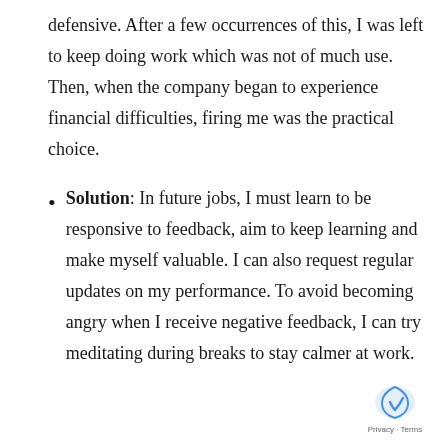defensive. After a few occurrences of this, I was left to keep doing work which was not of much use. Then, when the company began to experience financial difficulties, firing me was the practical choice.
Solution: In future jobs, I must learn to be responsive to feedback, aim to keep learning and make myself valuable. I can also request regular updates on my performance. To avoid becoming angry when I receive negative feedback, I can try meditating during breaks to stay calmer at work.